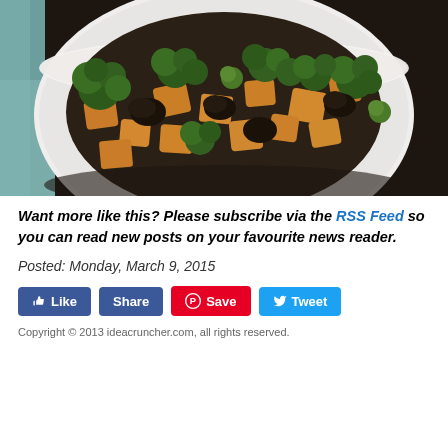[Figure (photo): A white bowl filled with roasted vegetables including broccoli, orange/yellow tofu or squash cubes, mushrooms, and brussels sprouts, photographed from above on a dark wooden surface with a teal/blue cloth visible.]
Want more like this? Please subscribe via the RSS Feed so you can read new posts on your favourite news reader.
Posted: Monday, March 9, 2015
👍 Like   Share   🅟 Save   🐦 Tweet
Copyright © 2013 ideacruncher.com, all rights reserved.